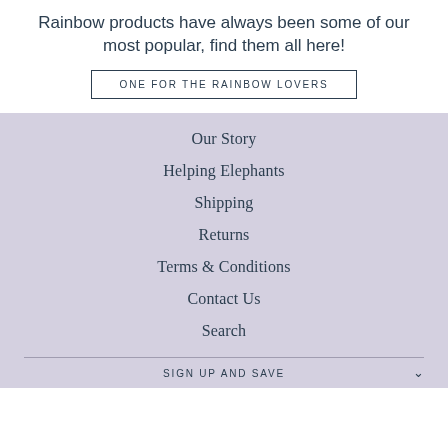Rainbow products have always been some of our most popular, find them all here!
ONE FOR THE RAINBOW LOVERS
Our Story
Helping Elephants
Shipping
Returns
Terms & Conditions
Contact Us
Search
SIGN UP AND SAVE